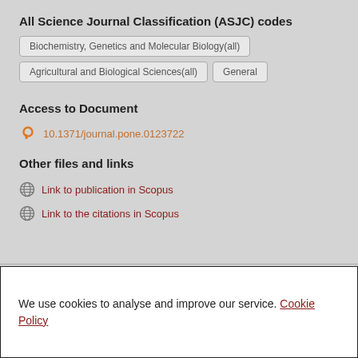All Science Journal Classification (ASJC) codes
Biochemistry, Genetics and Molecular Biology(all)
Agricultural and Biological Sciences(all)
General
Access to Document
10.1371/journal.pone.0123722
Other files and links
Link to publication in Scopus
Link to the citations in Scopus
We use cookies to analyse and improve our service. Cookie Policy